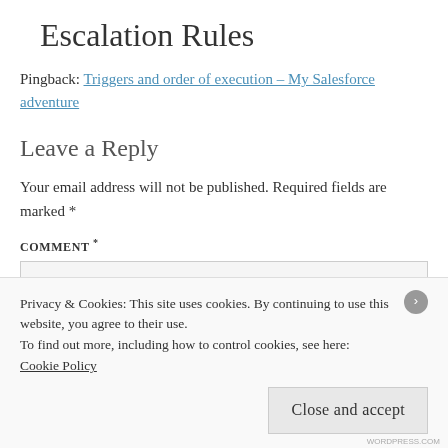Escalation Rules
Pingback: Triggers and order of execution – My Salesforce adventure
Leave a Reply
Your email address will not be published. Required fields are marked *
COMMENT *
Privacy & Cookies: This site uses cookies. By continuing to use this website, you agree to their use.
To find out more, including how to control cookies, see here:
Cookie Policy
Close and accept